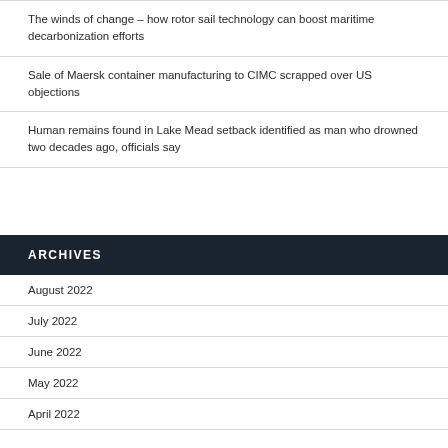The winds of change – how rotor sail technology can boost maritime decarbonization efforts
Sale of Maersk container manufacturing to CIMC scrapped over US objections
Human remains found in Lake Mead setback identified as man who drowned two decades ago, officials say
ARCHIVES
August 2022
July 2022
June 2022
May 2022
April 2022